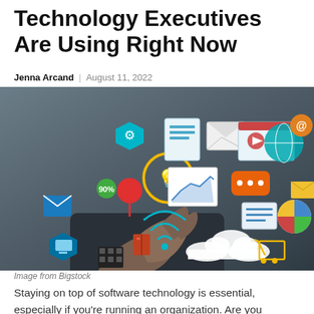Technology Executives Are Using Right Now
Jenna Arcand | August 11, 2022
[Figure (photo): Photo of a person in a dark shirt extending their hand with various digital technology icons floating above it, including email, location pin, lightbulb, chart, cloud, shopping cart, pie chart, globe, and other tech-related icons. Colorful digital illustration overlaid on a real photo.]
Image from Bigstock
Staying on top of software technology is essential, especially if you're running an organization. Are you